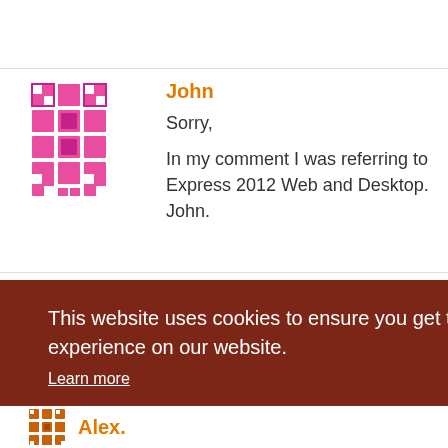[Figure (illustration): Pink pixel/mosaic avatar icon for user John]
John
Sorry,
In my comment I was referring to Express 2012 Web and Desktop. John.
[Figure (illustration): Cookie consent overlay banner with dark red/brown background]
This website uses cookies to ensure you get the best experience on our website.
Learn more
Got it!
[Figure (illustration): Orange/brown pixel avatar icon for user Alex]
Alex.